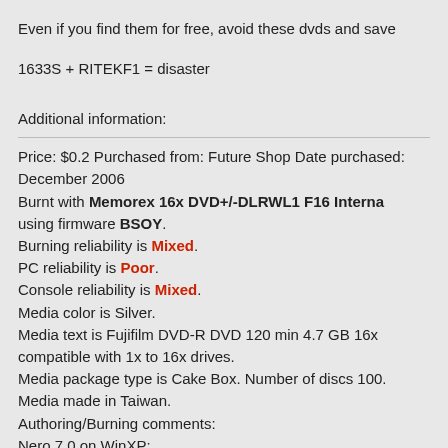Even if you find them for free, avoid these dvds and save
1633S + RITEKF1 = disaster
Additional information:
Price: $0.2 Purchased from: Future Shop Date purchased: December 2006
Burnt with Memorex 16x DVD+/-DLRWL1 F16 Interna using firmware BSOY.
Burning reliability is Mixed.
PC reliability is Poor.
Console reliability is Mixed.
Media color is Silver.
Media text is Fujifilm DVD-R DVD 120 min 4.7 GB 16x compatible with 1x to 16x drives.
Media package type is Cake Box. Number of discs 100.
Media made in Taiwan.
Authoring/Burning comments:
Nero 7.0 on WinXP:
1 out of 3 burns passed validation